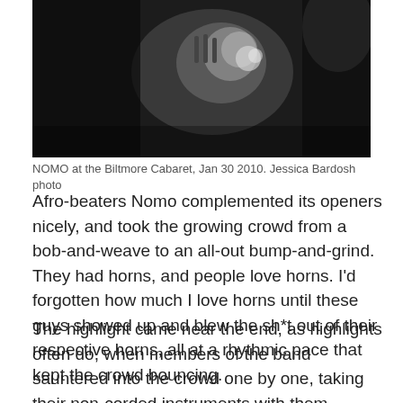[Figure (photo): Black and white photo of a musician playing a trumpet or horn instrument, close-up shot in low light at the Biltmore Cabaret.]
NOMO at the Biltmore Cabaret, Jan 30 2010. Jessica Bardosh photo
Afro-beaters Nomo complemented its openers nicely, and took the growing crowd from a bob-and-weave to an all-out bump-and-grind. They had horns, and people love horns. I'd forgotten how much I love horns until these guys showed up and blew the sh*t out of their respective horns, all at a rhythmic pace that kept the crowd bouncing.
The highlight came near the end, as highlights often do, when members of the band sauntered into the crowd one by one, taking their non-corded instruments with them. Horns! Yes!! And played an inspired bit of horny goodness as cheering fans swirled around them. Definitely a highlight. The low-light was drinking $3.50 PBR's like they